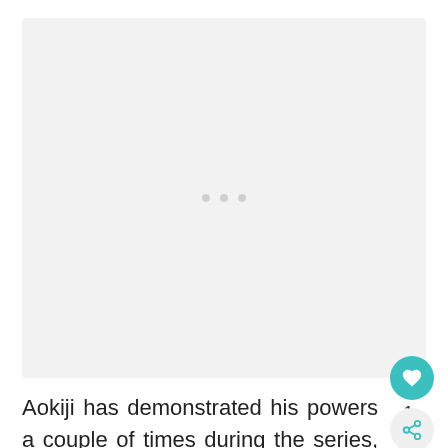[Figure (other): A large light gray placeholder image area with three small gray dots centered in the middle, indicating a loading or empty media slot.]
Aokiji has demonstrated his powers a couple of times during the series, and